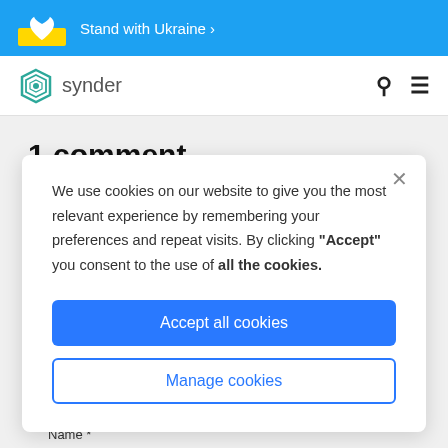Stand with Ukraine >
[Figure (logo): Synder logo with hexagonal icon and text 'synder']
1 comment
We use cookies on our website to give you the most relevant experience by remembering your preferences and repeat visits. By clicking "Accept" you consent to the use of all the cookies.
Accept all cookies
Manage cookies
Name *